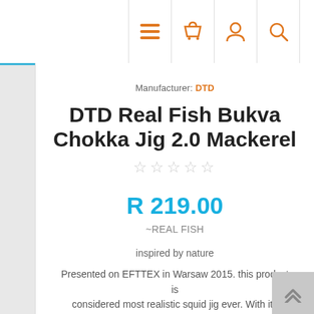Navigation bar with menu, cart, account, and search icons
Manufacturer: DTD
DTD Real Fish Bukva Chokka Jig 2.0 Mackerel
R 219.00
~REAL FISH
inspired by nature
Presented on EFTTEX in Warsaw 2015. this product is considered most realistic squid jig ever. With its